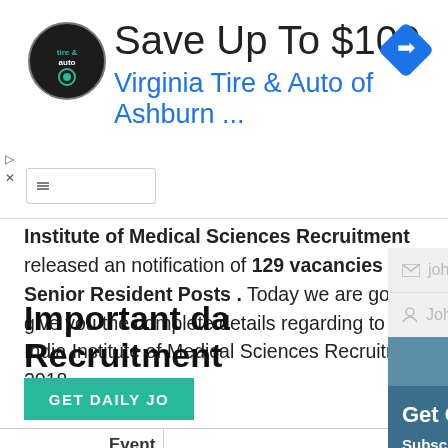[Figure (screenshot): Advertisement banner for Virginia Tire & Auto of Ashburn with logo, 'Save Up To $100' headline, and navigation arrow icon]
Institute of Medical Sciences Recruitment released an notification of 129 vacancies for Senior Resident Posts . Today we are going to give you the complete details regarding to All India Institute of Medical Sciences Recruitment 2018.
[Figure (screenshot): GET DAILY JO... teal button partially visible]
Important da... Recruitment
| Event |  |
| --- | --- |
| Starting of Online |  |
[Figure (screenshot): Email signup overlay with fields for johnsmith@example.com and John Smith, Submit button, Get Govt Job Alerts headline, and Subscribe to our newsletter to get da... notifications on your email text]